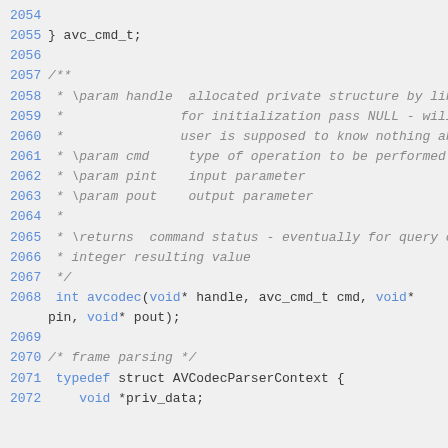Code listing lines 2054-2072 showing avc_cmd_t typedef closing, Doxygen comment block for avcodec function, and start of AVCodecParserContext typedef struct.